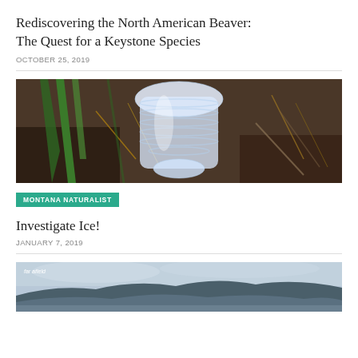Rediscovering the North American Beaver: The Quest for a Keystone Species
OCTOBER 25, 2019
[Figure (photo): Close-up photo of a clear plastic/ice formation or bottle among grass and dry plant debris on dark soil]
MONTANA NATURALIST
Investigate Ice!
JANUARY 7, 2019
[Figure (photo): Landscape photo of rolling blue-green hills/mountains under a cloudy sky with 'far afield' text overlay in top left]